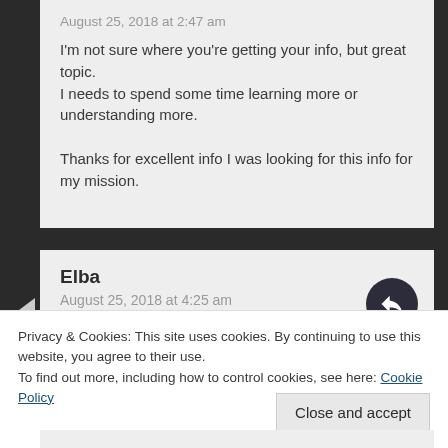August 25, 2018 at 2:47 am
I'm not sure where you're getting your info, but great topic.
I needs to spend some time learning more or understanding more.

Thanks for excellent info I was looking for this info for my mission.
Elba
August 25, 2018 at 4:25 am
Privacy & Cookies: This site uses cookies. By continuing to use this website, you agree to their use.
To find out more, including how to control cookies, see here: Cookie Policy